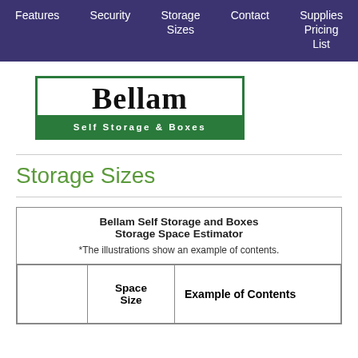Features  Security  Storage Sizes  Contact  Supplies Pricing List
[Figure (logo): Bellam Self Storage & Boxes logo — black serif text 'BELLAM' on white background above green bar with white text 'SELF STORAGE & BOXES', bordered in green]
Storage Sizes
|  | Space Size | Example of Contents |
| --- | --- | --- |
|  |  |  |